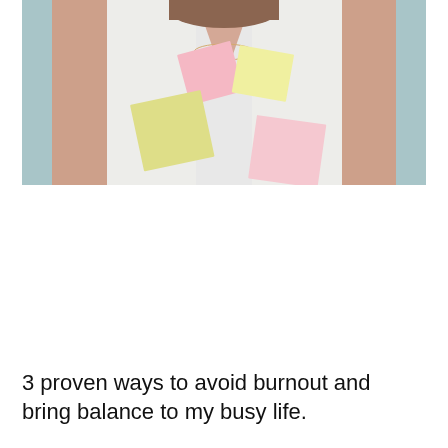[Figure (photo): A woman in a white V-neck sweater covered with colorful sticky notes (pink and yellow), her hands raised behind her head, against a light teal/blue background, photographed from the torso up.]
3 proven ways to avoid burnout and bring balance to my busy life.